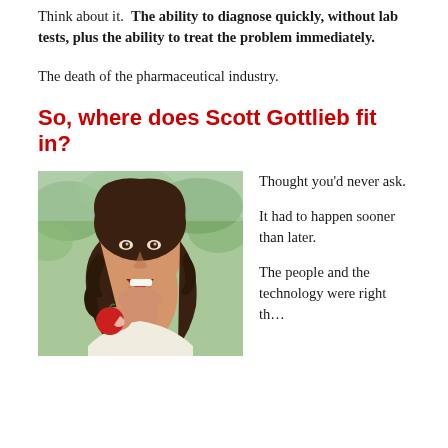Think about it. The ability to diagnose quickly, without lab tests, plus the ability to treat the problem immediately.
The death of the pharmaceutical industry.
So, where does Scott Gottlieb fit in?
[Figure (photo): Woman with curly brown hair smiling and biting into a red apple, outdoors with green foliage background]
Thought you'd never ask.

It had to happen sooner than later.

The people and the technology were right th...